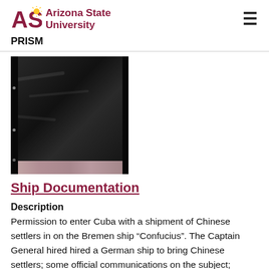ASU Arizona State University | PRISM
[Figure (photo): A dark plastic bag or envelope, mostly black, with some pinkish material visible at the bottom edge.]
Ship Documentation
Description
Permission to enter Cuba with a shipment of Chinese settlers in on the Bremen ship “Confucius”. The Captain General hired hired a German ship to bring Chinese settlers; some official communications on the subject;